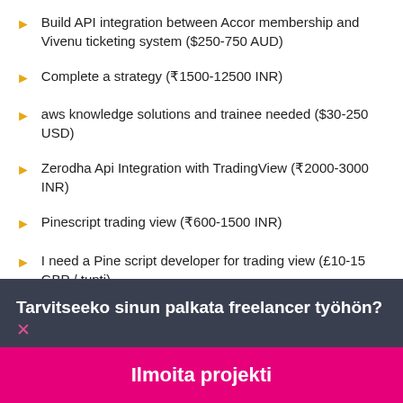Build API integration between Accor membership and Vivenu ticketing system ($250-750 AUD)
Complete a strategy (₹1500-12500 INR)
aws knowledge solutions and trainee needed ($30-250 USD)
Zerodha Api Integration with TradingView (₹2000-3000 INR)
Pinescript trading view (₹600-1500 INR)
I need a Pine script developer for trading view (£10-15 GBP / tunti)
Saas tech stack architect with api deployment experience
Tarvitseeko sinun palkata freelancer työhön?
Ilmoita projekti